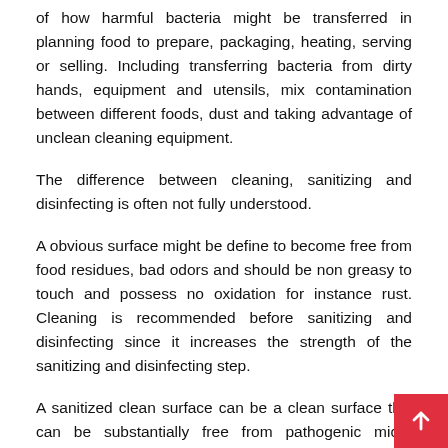of how harmful bacteria might be transferred in planning food to prepare, packaging, heating, serving or selling. Including transferring bacteria from dirty hands, equipment and utensils, mix contamination between different foods, dust and taking advantage of unclean cleaning equipment.
The difference between cleaning, sanitizing and disinfecting is often not fully understood.
A obvious surface might be define to become free from food residues, bad odors and should be non greasy to touch and possess no oxidation for instance rust. Cleaning is recommended before sanitizing and disinfecting since it increases the strength of the sanitizing and disinfecting step.
A sanitized clean surface can be a clean surface this can be substantially free from pathogenic micro microorganisms and undesirable figures of spoilage micro microorganisms. Meaning free from around 99.9% of bacteria.